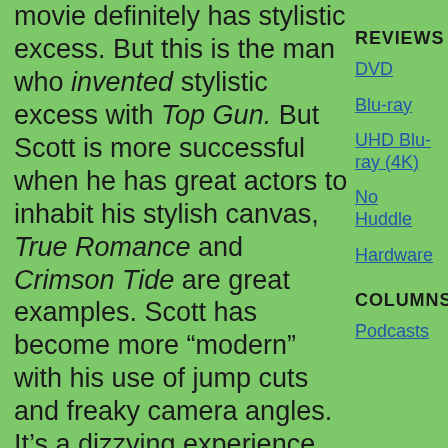movie definitely has stylistic excess. But this is the man who invented stylistic excess with Top Gun. But Scott is more successful when he has great actors to inhabit his stylish canvas, True Romance and Crimson Tide are great examples. Scott has become more “modern” with his use of jump cuts and freaky camera angles. It’s a dizzying experience, but thankfully this over the top effort is fleshed out by the excellent performances of Denzel and Dakota Fanning (she will be a
REVIEWS
DVD
Blu-ray
UHD Blu-ray (4K)
No Huddle
Hardware
COLUMNS
Podcasts